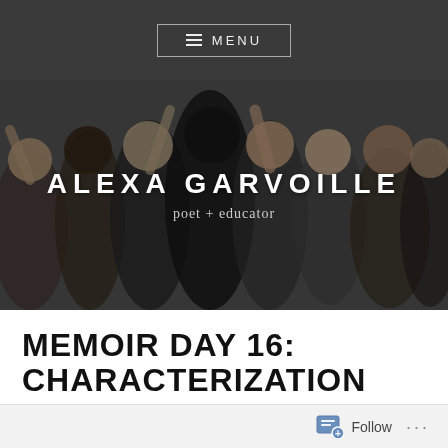≡ MENU
[Figure (photo): Group photo of diverse smiling students/young people with hands raised, in a classroom or event setting. Overlaid with name 'ALEXA GARVOILLE' and subtitle 'poet + educator'.]
MEMOIR DAY 16: CHARACTERIZATION PRACTICE
Saturday, September 22, 2018 | garvoille
Follow ...